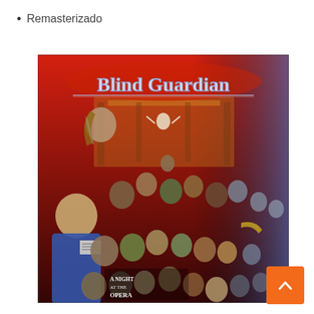Remasterizado
[Figure (illustration): Album cover art for Blind Guardian - A Night at the Opera. Features fantasy/horror creatures in a concert hall scene with the Blind Guardian logo at the top in chrome/metallic lettering and 'A Night at the Opera' text at the bottom left. Red and blue color scheme with many fantastical figures playing instruments and gathering.]
[Figure (other): Orange scroll-to-top button with white upward arrow chevron in the bottom right corner.]